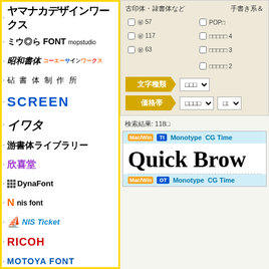ヤマナカデザインワークス
ミウ◎ら FONT mopstudio
昭和書体 コーエーサインワークス
砧書体制作所
SCREEN
イワタ
游書体ライブラリー
欣喜堂
DynaFont
nis font
NIS Ticket
RICOH
MOTOYA FONT
モトヤフォント lite
ARPHIC
古印体・隷書体など　手書き系＆
57　　117　　63
文字種類　価格帯
検索結果: 1180
Mac/Win TT  Monotype  CG Time
Quick Brow
Mac/Win OT  Monotype  CG Time